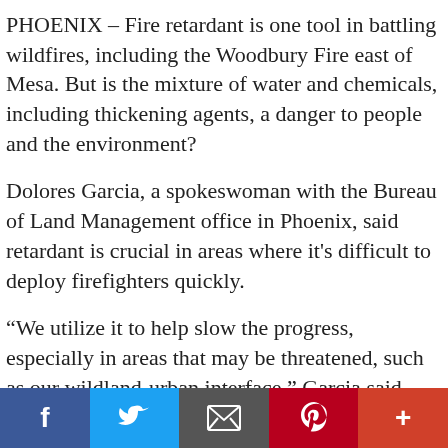PHOENIX – Fire retardant is one tool in battling wildfires, including the Woodbury Fire east of Mesa. But is the mixture of water and chemicals, including thickening agents, a danger to people and the environment?
Dolores Garcia, a spokeswoman with the Bureau of Land Management office in Phoenix, said retardant is crucial in areas where it's difficult to deploy firefighters quickly.
“We utilize it to help slow the progress, especially in areas that may be threatened, such as our wildland-urban interface,” Garcia said.
[Figure (infographic): Social media sharing bar with buttons for Facebook, Twitter, Email, Pinterest, and More]